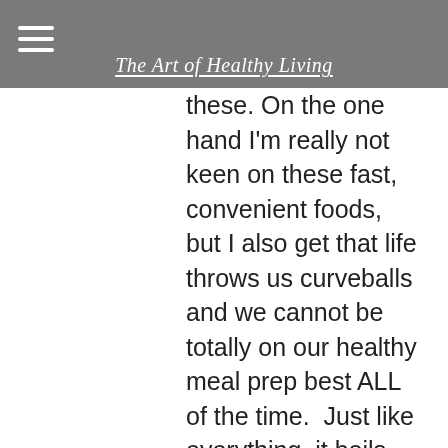The Art of Healthy Living
I'll be honest I'm a bit on the fence with these. On the one hand I'm really not keen on these fast, convenient foods, but I also get that life throws us curveballs and we cannot be totally on our healthy meal prep best ALL of the time.  Just like everything, it boils down to personal taste and you really would need to try these yourself to see if you like them. Hopefully, however, my review will help you decide whether these snack pots are likely to feature on those days you just can't be bothered to make a packed lunch!
For more information about the range of products available head on over to the Levi Roots website.